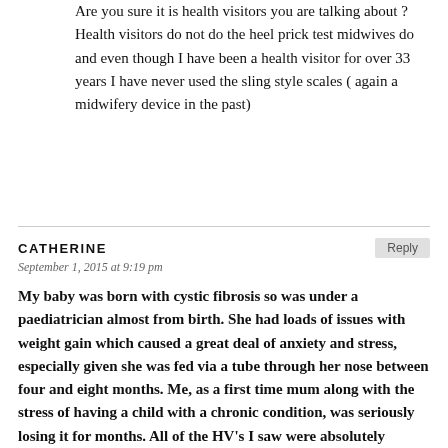Are you sure it is health visitors you are talking about ? Health visitors do not do the heel prick test midwives do and even though I have been a health visitor for over 33 years I have never used the sling style scales ( again a midwifery device in the past)
CATHERINE
September 1, 2015 at 9:19 pm
My baby was born with cystic fibrosis so was under a paediatrician almost from birth. She had loads of issues with weight gain which caused a great deal of anxiety and stress, especially given she was fed via a tube through her nose between four and eight months. Me, as a first time mum along with the stress of having a child with a chronic condition, was seriously losing it for months. All of the HV's I saw were absolutely